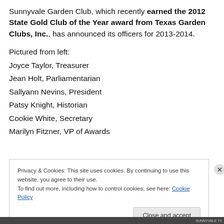Sunnyvale Garden Club, which recently earned the 2012 State Gold Club of the Year award from Texas Garden Clubs, Inc., has announced its officers for 2013-2014.
Pictured from left:
Joyce Taylor, Treasurer
Jean Holt, Parliamentarian
Sallyann Nevins, President
Patsy Knight, Historian
Cookie White, Secretary
Marilyn Fitzner, VP of Awards
Privacy & Cookies: This site uses cookies. By continuing to use this website, you agree to their use. To find out more, including how to control cookies, see here: Cookie Policy